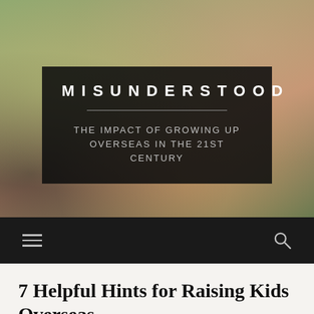[Figure (photo): Hero background image of children outdoors with colorful clothing, blurred background with green and warm tones]
MISUNDERSTOOD
THE IMPACT OF GROWING UP OVERSEAS IN THE 21ST CENTURY
Navigation bar with hamburger menu and search icon
7 Helpful Hints for Raising Kids Overseas